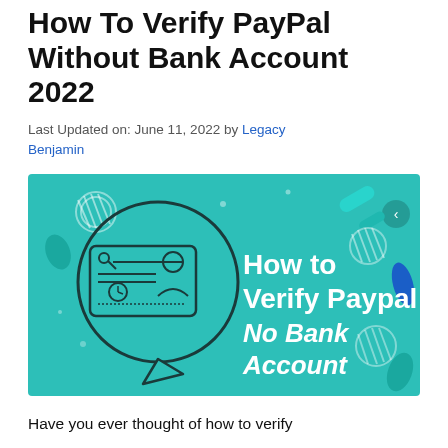How To Verify PayPal Without Bank Account 2022
Last Updated on: June 11, 2022 by Legacy Benjamin
[Figure (illustration): Teal/turquoise banner image with text 'How to Verify Paypal No Bank Account' and an illustration of a check/ID card inside a speech bubble, with decorative geometric shapes in the background.]
Have you ever thought of how to verify